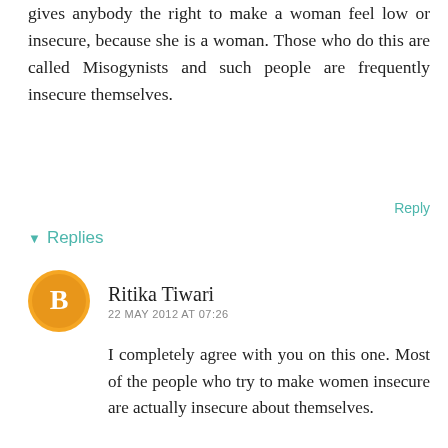gives anybody the right to make a woman feel low or insecure, because she is a woman. Those who do this are called Misogynists and such people are frequently insecure themselves.
Reply
▾ Replies
Ritika Tiwari
22 MAY 2012 AT 07:26
I completely agree with you on this one. Most of the people who try to make women insecure are actually insecure about themselves.